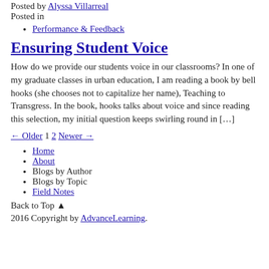Posted by Alyssa Villarreal
Posted in
Performance & Feedback
Ensuring Student Voice
How do we provide our students voice in our classrooms? In one of my graduate classes in urban education, I am reading a book by bell hooks (she chooses not to capitalize her name), Teaching to Transgress. In the book, hooks talks about voice and since reading this selection, my initial question keeps swirling round in […]
← Older 1 2 Newer →
Home
About
Blogs by Author
Blogs by Topic
Field Notes
Back to Top ▲
2016 Copyright by AdvanceLearning.